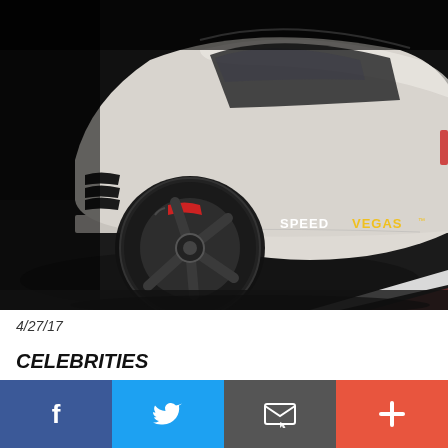[Figure (photo): Low-angle rear/side view of a white Nissan GT-R sports car with black multi-spoke alloy wheels and red brake calipers on a dark asphalt race track, with 'SPEEDVEGAS' branding in white and gold on the car's side sill, dark dramatic lighting, white track boundary line visible at bottom right.]
4/27/17
CELEBRITIES